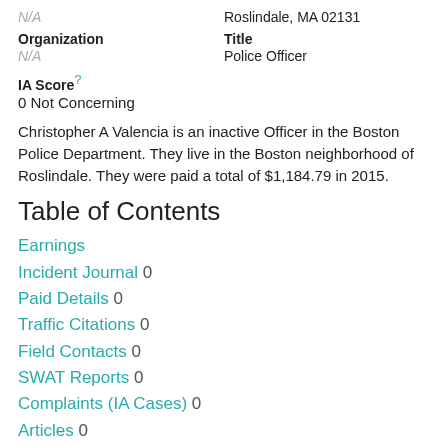N/A
Roslindale, MA 02131
Organization
N/A
Title
Police Officer
IA Score
0 Not Concerning
Christopher A Valencia is an inactive Officer in the Boston Police Department. They live in the Boston neighborhood of Roslindale. They were paid a total of $1,184.79 in 2015.
Table of Contents
Earnings
Incident Journal 0
Paid Details 0
Traffic Citations 0
Field Contacts 0
SWAT Reports 0
Complaints (IA Cases) 0
Articles 0